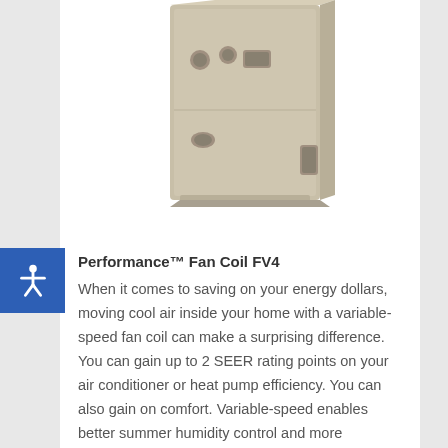[Figure (photo): Photo of a Performance Fan Coil FV4 unit — a beige/tan rectangular HVAC fan coil cabinet with vents and ports on the front face, shown against a white background.]
Performance™ Fan Coil FV4
When it comes to saving on your energy dollars, moving cool air inside your home with a variable-speed fan coil can make a surprising difference. You can gain up to 2 SEER rating points on your air conditioner or heat pump efficiency. You can also gain on comfort. Variable-speed enables better summer humidity control and more consistent air temperatures along with quieter operation. Less